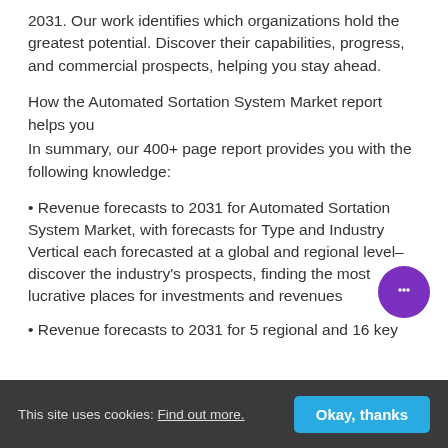2031. Our work identifies which organizations hold the greatest potential. Discover their capabilities, progress, and commercial prospects, helping you stay ahead.
How the Automated Sortation System Market report helps you
In summary, our 400+ page report provides you with the following knowledge:
• Revenue forecasts to 2031 for Automated Sortation System Market, with forecasts for Type and Industry Vertical each forecasted at a global and regional level– discover the industry's prospects, finding the most lucrative places for investments and revenues
• Revenue forecasts to 2031 for 5 regional and 16 key
This site uses cookies: Find out more.